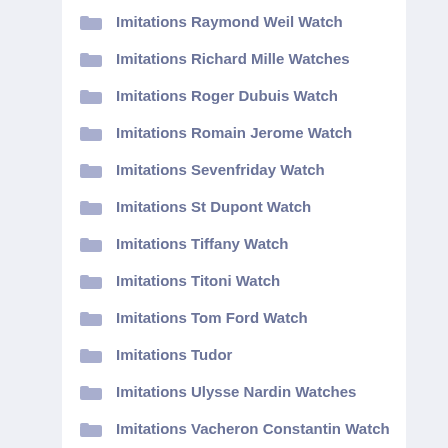Imitations Raymond Weil Watch
Imitations Richard Mille Watches
Imitations Roger Dubuis Watch
Imitations Romain Jerome Watch
Imitations Sevenfriday Watch
Imitations St Dupont Watch
Imitations Tiffany Watch
Imitations Titoni Watch
Imitations Tom Ford Watch
Imitations Tudor
Imitations Ulysse Nardin Watches
Imitations Vacheron Constantin Watch
Imitations Vulcain Watch